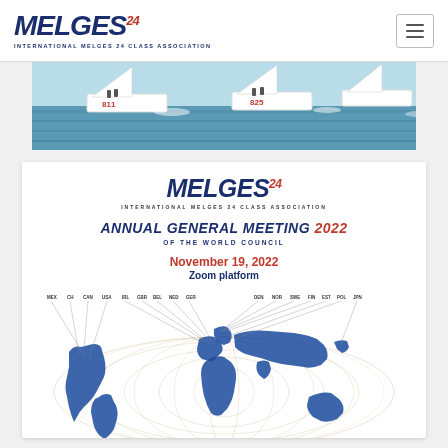MELGES 24 – INTERNATIONAL MELGES 24 CLASS ASSOCIATION
[Figure (photo): Sailing boats racing on water, hull numbers 811 and 825 visible]
[Figure (logo): Melges 24 logo with text INTERNATIONAL MELGES 24 CLASS ASSOCIATION]
ANNUAL GENERAL MEETING 2022 OF THE WORLD COUNCIL
November 19, 2022
Zoom platform
[Figure (map): World map with lines connecting country labels: MEX, CH, CAN, USA, IRL, GBR, BEL, NED, GER, DEN, NOR, SWE, FIN, EST, POL, JPN]